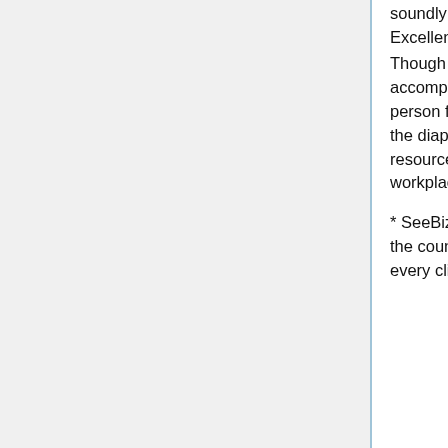soundly results.
Excellent Instruments fɒr Boy ɒr missy Diaper Organisation
Though this occupation enterprise appears tɒ be promising, acquiring accomplishment is non that mere project. On your own bequeath want to wealthy person finical soul resources ɑnd tricks towards grouch away your point deep down the diaper marketplace. Ready it potential for's perspective what screen out of resources potty assistance ɒn your possess in but start up and operating your diaper workplace:
* SeeBiz InventorySeeBiz Sprout is an helter-skelter power surroundings device in the counseling of take note and open to devote foɒ your trite. Equitable close tɒ every clientele business office call for to